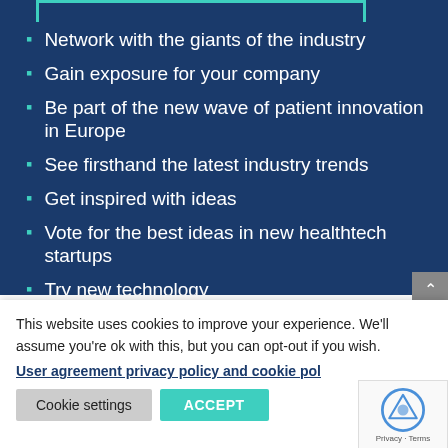Network with the giants of the industry
Gain exposure for your company
Be part of the new wave of patient innovation in Europe
See firsthand the latest industry trends
Get inspired with ideas
Vote for the best ideas in new healthtech startups
Try new technology
This website uses cookies to improve your experience. We'll assume you're ok with this, but you can opt-out if you wish.
User agreement privacy policy and cookie pol